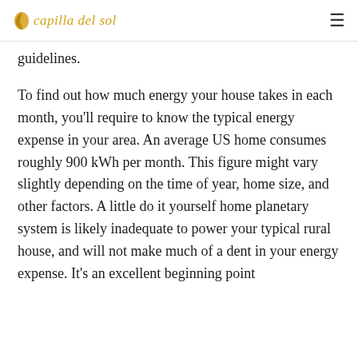capilla del sol
guidelines.
To find out how much energy your house takes in each month, you'll require to know the typical energy expense in your area. An average US home consumes roughly 900 kWh per month. This figure might vary slightly depending on the time of year, home size, and other factors. A little do it yourself home planetary system is likely inadequate to power your typical rural house, and will not make much of a dent in your energy expense. It's an excellent beginning point